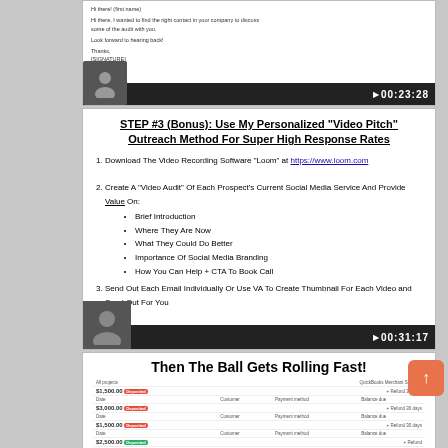[Figure (screenshot): Screenshot of an email ending with 'Look forward to hearing back!' and a name/contact, with a video player bar showing timestamp 00:23:28]
[Figure (screenshot): Slide screenshot titled 'STEP #3 (Bonus): Use My Personalized Video Pitch Outreach Method For Super High Response Rates' with numbered steps and bullet points about video audit content, with a video player bar showing timestamp 00:31:17]
[Figure (screenshot): Screenshot titled 'Then The Ball Gets Rolling Fast!' showing a payment dashboard with multiple transactions including $1,500.00, $3,000.00, $1,500.00, and $2,500.00 amounts]